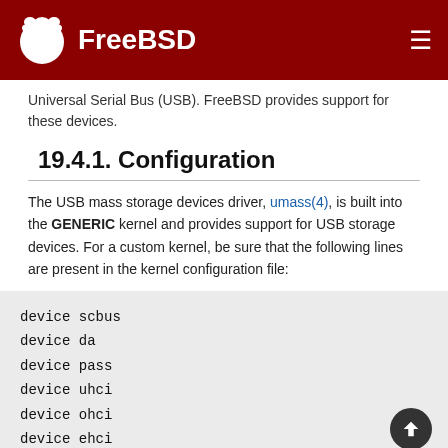FreeBSD
Universal Serial Bus (USB). FreeBSD provides support for these devices.
19.4.1. Configuration
The USB mass storage devices driver, umass(4), is built into the GENERIC kernel and provides support for USB storage devices. For a custom kernel, be sure that the following lines are present in the kernel configuration file:
device scbus
device da
device pass
device uhci
device ohci
device ehci